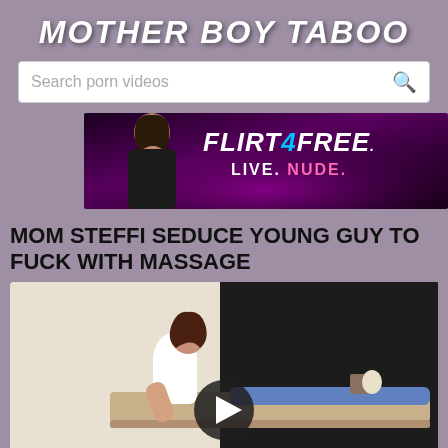MOTHER BOY TABOO
Search porn videos
[Figure (photo): Flirt4Free advertisement banner featuring a woman in black lingerie with text FLIRT4FREE LIVE. NUDE.]
MOM STEFFI SEDUCE YOUNG GUY TO FUCK WITH MASSAGE
[Figure (screenshot): Video thumbnail showing a woman in white tank top giving a massage on a table with a play button overlay in the center]